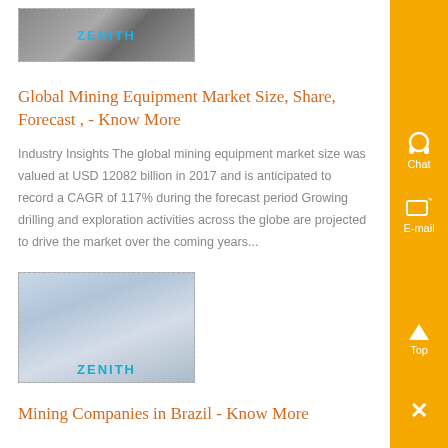[Figure (photo): Industrial mining site with Zenith branding visible in blue text]
Global Mining Equipment Market Size, Share, Forecast , - Know More
Industry Insights The global mining equipment market size was valued at USD 12082 billion in 2017 and is anticipated to record a CAGR of 117% during the forecast period Growing drilling and exploration activities across the globe are projected to drive the market over the coming years...
[Figure (photo): White industrial machinery/equipment with Zenith branding in blue text at bottom]
Mining Companies in Brazil - Know More